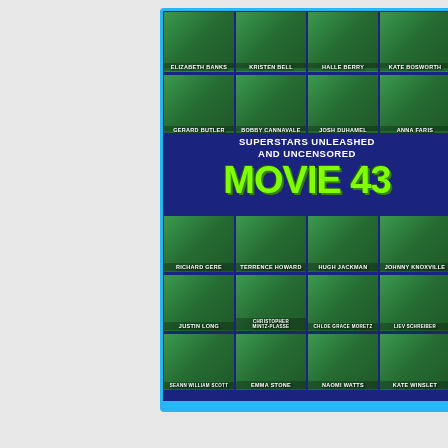[Figure (photo): Movie 43 Blu-ray disc cover. Shows a 4-column grid of celebrity headshots on green backgrounds. Top rows: Elizabeth Banks, Kristen Bell, Halle Berry, Kate Bosworth, Gerard Butler, Bobby Cannavale, Josh Duhamel, Anna Faris. Tagline: 'SUPERSTARS UNLEASHED AND UNCENSORED'. Large green title text: MOVIE 43. Bottom rows: Richard Gere, Terrence Howard, Hugh Jackman, Johnny Knoxville, Justin Long, Christopher Mintz-Plasse, Chloe Grace Moretz, Liev Schreiber, Seann William Scott, Emma Stone, Naomi Watts, Kate Winslet.]